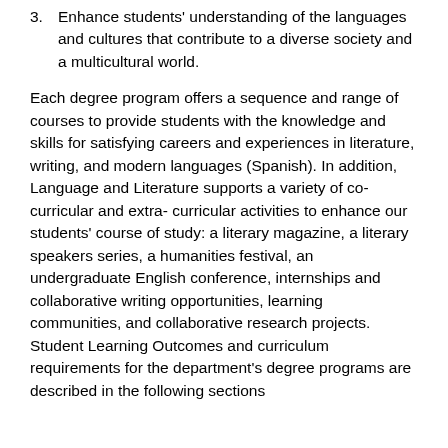3. Enhance students' understanding of the languages and cultures that contribute to a diverse society and a multicultural world.
Each degree program offers a sequence and range of courses to provide students with the knowledge and skills for satisfying careers and experiences in literature, writing, and modern languages (Spanish). In addition, Language and Literature supports a variety of co-curricular and extra- curricular activities to enhance our students' course of study: a literary magazine, a literary speakers series, a humanities festival, an undergraduate English conference, internships and collaborative writing opportunities, learning communities, and collaborative research projects. Student Learning Outcomes and curriculum requirements for the department's degree programs are described in the following sections